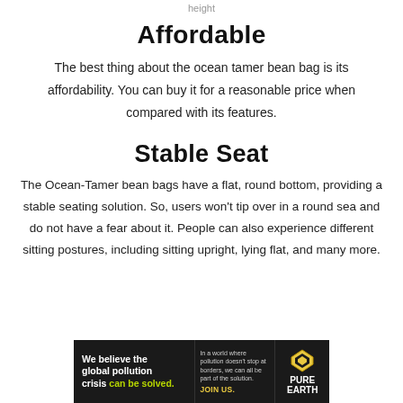height
Affordable
The best thing about the ocean tamer bean bag is its affordability. You can buy it for a reasonable price when compared with its features.
Stable Seat
The Ocean-Tamer bean bags have a flat, round bottom, providing a stable seating solution. So, users won’t tip over in a round sea and do not have a fear about it. People can also experience different sitting postures, including sitting upright, lying flat, and many more.
[Figure (illustration): Advertisement banner for Pure Earth. Black background with text: 'We believe the global pollution crisis can be solved.' and 'In a world where pollution doesn’t stop at borders, we can all be part of the solution. JOIN US.' Pure Earth logo with diamond shape.]